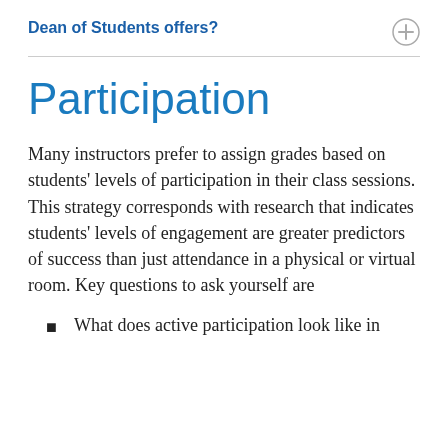Dean of Students offers?
Participation
Many instructors prefer to assign grades based on students' levels of participation in their class sessions. This strategy corresponds with research that indicates students' levels of engagement are greater predictors of success than just attendance in a physical or virtual room. Key questions to ask yourself are
What does active participation look like in